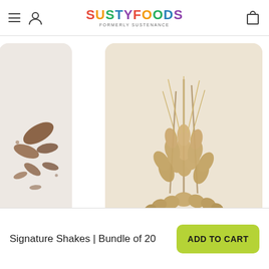SUSTYFOODS — FORMERLY SUSTENANCE
[Figure (photo): Photo of oat grains and wheat stalks piled together on a beige background]
Oats
Excellent source of complex carbohydyrates, dietary fiber and protein.
of
ce of
with
ck.
[Figure (photo): Partial view of a yellow sunflower on a yellow background]
Signature Shakes | Bundle of 20
ADD TO CART